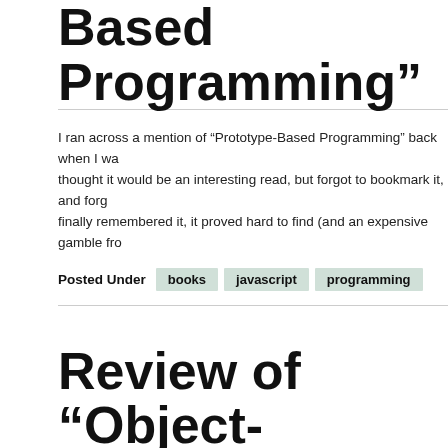Review of “Prototype-Based Programming”
I ran across a mention of “Prototype-Based Programming” back when I wa… thought it would be an interesting read, but forgot to bookmark it, and forg… finally remembered it, it proved hard to find (and an expensive gamble fro…
Posted Under  books  javascript  programming
Review of “Object-Oriented JavaScript”
I recently read Object Oriented JavaScript, by Stoyan Stefanov. In reviewi… most interesting books I’ve read in a while, for some good reasons and a f…